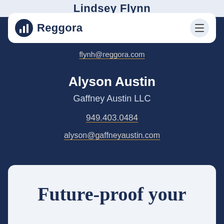Lindsey Flynn
[Figure (logo): Reggora logo with circular bar-chart icon and hamburger menu button in a white rounded navbar]
flynh@reggora.com
Alyson Austin
Gaffney Austin LLC
949.403.0484
alyson@gaffneyaustin.com
Future-proof your